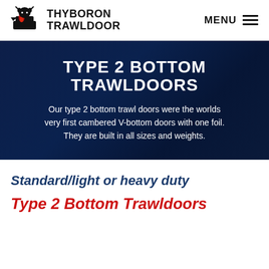[Figure (logo): Thyboron Trawldoor logo with anvil/bull icon and brand name]
TYPE 2 BOTTOM TRAWLDOORS
Our type 2 bottom trawl doors were the worlds very first cambered V-bottom doors with one foil. They are built in all sizes and weights.
Standard/light or heavy duty
Type 2 Bottom Trawldoors